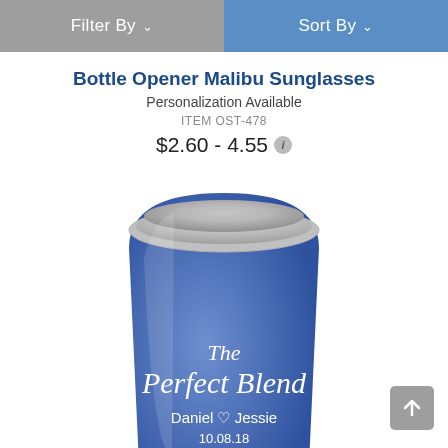Filter By   Sort By
Bottle Opener Malibu Sunglasses
Personalization Available
ITEM OST-478
$2.60 - 4.55
[Figure (photo): Blue insulated stemless wine cup/tumbler with white script text reading 'The Perfect Blend Daniel heart Jessie 10.08.18', with a clear lid on top.]